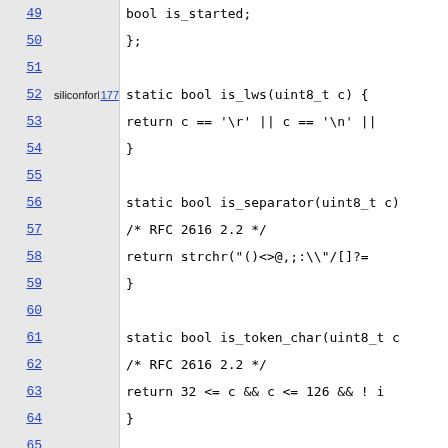[Figure (screenshot): Code viewer showing C source code lines 49-71 with line numbers, author annotation 'siliconforks' at line 52 with revision 177, and code for is_lws, is_separator, is_token_char, is_text, and skip_lws static functions.]